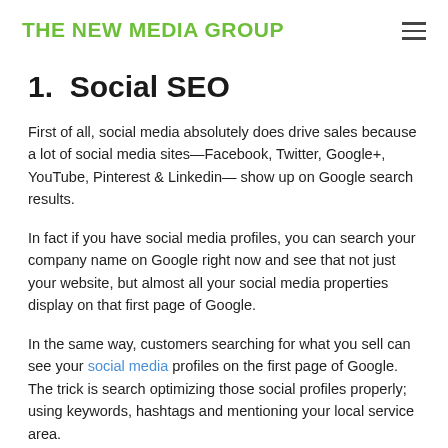THE NEW MEDIA GROUP
1.  Social SEO
First of all, social media absolutely does drive sales because a lot of social media sites—Facebook, Twitter, Google+, YouTube, Pinterest & Linkedin— show up on Google search results.
In fact if you have social media profiles, you can search your company name on Google right now and see that not just your website, but almost all your social media properties display on that first page of Google.
In the same way, customers searching for what you sell can see your social media profiles on the first page of Google. The trick is search optimizing those social profiles properly; using keywords, hashtags and mentioning your local service area.